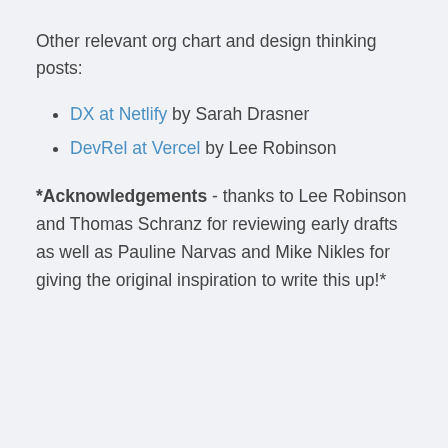Other relevant org chart and design thinking posts:
DX at Netlify by Sarah Drasner
DevRel at Vercel by Lee Robinson
*Acknowledgements - thanks to Lee Robinson and Thomas Schranz for reviewing early drafts as well as Pauline Narvas and Mike Nikles for giving the original inspiration to write this up!*